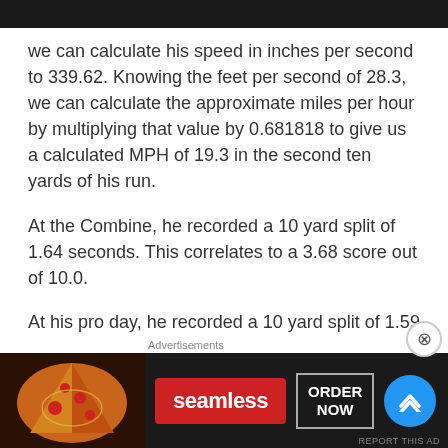we can calculate his speed in inches per second to 339.62. Knowing the feet per second of 28.3, we can calculate the approximate miles per hour by multiplying that value by 0.681818 to give us a calculated MPH of 19.3 in the second ten yards of his run.
At the Combine, he recorded a 10 yard split of 1.64 seconds. This correlates to a 3.68 score out of 10.0.
At his pro day, he recorded a 10 yard split of 1.59 seconds. Because he also recorded this metric at the Combine, his pro day did not count towards his RAS.
The next...
[Figure (infographic): Seamless food delivery advertisement banner with pizza image, Seamless logo in red, ORDER NOW button, and scroll-up chevron button in blue]